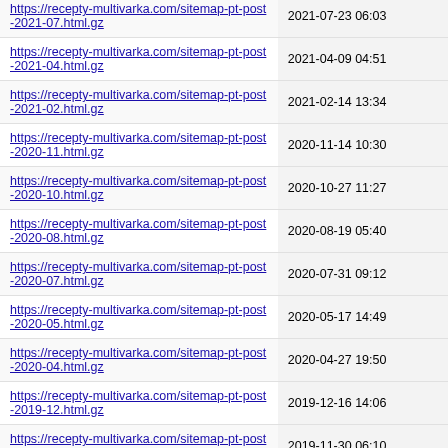| URL | Last Modified |
| --- | --- |
| https://recepty-multivarka.com/sitemap-pt-post-2021-07.html.gz | 2021-07-23 06:03 |
| https://recepty-multivarka.com/sitemap-pt-post-2021-04.html.gz | 2021-04-09 04:51 |
| https://recepty-multivarka.com/sitemap-pt-post-2021-02.html.gz | 2021-02-14 13:34 |
| https://recepty-multivarka.com/sitemap-pt-post-2020-11.html.gz | 2020-11-14 10:30 |
| https://recepty-multivarka.com/sitemap-pt-post-2020-10.html.gz | 2020-10-27 11:27 |
| https://recepty-multivarka.com/sitemap-pt-post-2020-08.html.gz | 2020-08-19 05:40 |
| https://recepty-multivarka.com/sitemap-pt-post-2020-07.html.gz | 2020-07-31 09:12 |
| https://recepty-multivarka.com/sitemap-pt-post-2020-05.html.gz | 2020-05-17 14:49 |
| https://recepty-multivarka.com/sitemap-pt-post-2020-04.html.gz | 2020-04-27 19:50 |
| https://recepty-multivarka.com/sitemap-pt-post-2019-12.html.gz | 2019-12-16 14:06 |
| https://recepty-multivarka.com/sitemap-pt-post-2019-11.html.gz | 2019-11-30 06:10 |
| https://recepty-multivarka.com/sitemap-pt-post-2019-10.html.gz | 2019-10-31 06:00 |
| https://recepty-multivarka.com/sitemap-pt-post-2019-09.html.gz | 2019-09-30 13:14 |